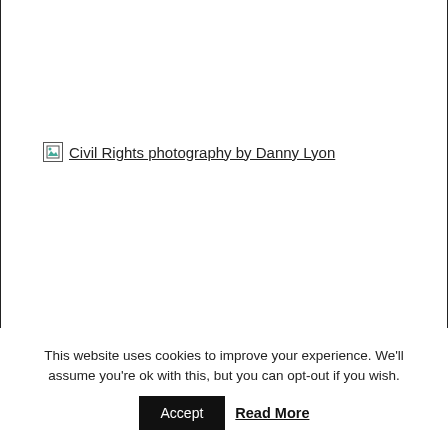[Figure (other): Broken image placeholder with alt text: Civil Rights photography by Danny Lyon]
This website uses cookies to improve your experience. We'll assume you're ok with this, but you can opt-out if you wish.
Accept  Read More